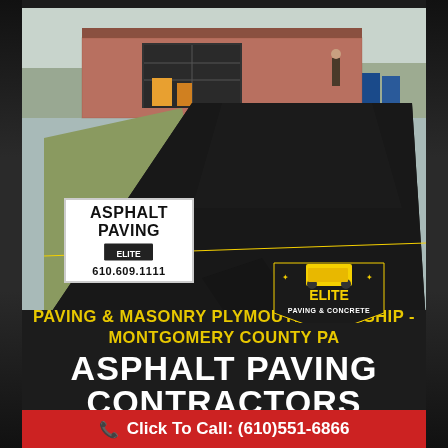[Figure (photo): Aerial/perspective view of freshly paved black asphalt driveway leading to a brick house with open garage. Green lawn on left side, a white 'ASPHALT PAVING 610.609.1111' sign on the lawn, yellow stripe across the driveway, and Elite Paving & Concrete logo badge in lower right of photo.]
PAVING & MASONRY PLYMOUTH TOWNSHIP - MONTGOMERY COUNTY PA
ASPHALT PAVING CONTRACTORS
Click To Call: (610)551-6866